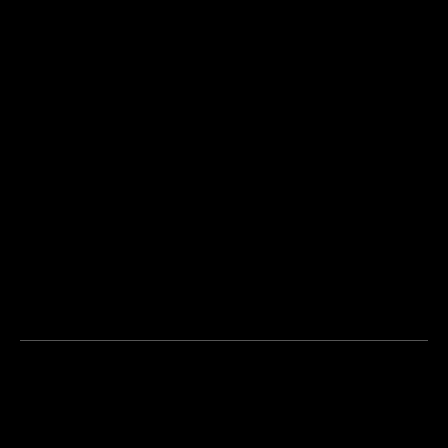[Figure (other): Large black rectangle filling the upper portion of the page, likely a video or image placeholder]
Previous article
Next article
Video of #handcuffed Nigerian Man in #Dubai who claim to
Boys or Girls Only #boarding #schools turn kids #pou